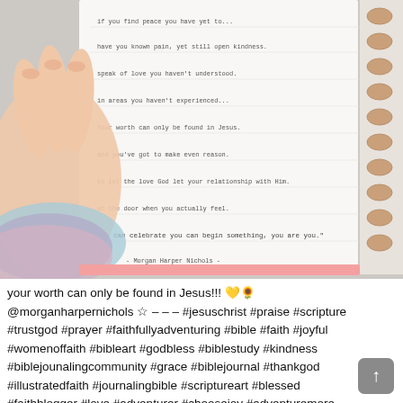[Figure (photo): Photo of a hand holding open a spiral-bound notebook/journal with handwritten text (poem lines) visible on the page. A colorful scrunchie is visible on the wrist. The notebook has rose-gold spiral binding on the right side. The background is a light gray-beige surface.]
your worth can only be found in Jesus!!! 💛🌻 @morganharpernichols ☆ – – – #jesuschrist #praise #scripture #trustgod #prayer #faithfullyadventuring #bible #faith #joyful #womenoffaith #bibleart #godbless #biblestudy #kindness #biblejounalingcommunity #grace #biblejournal #thankgod #illustratedfaith #journalingbible #scriptureart #blessed #faithblogger #love #adventurer #choosejoy #adventuremore